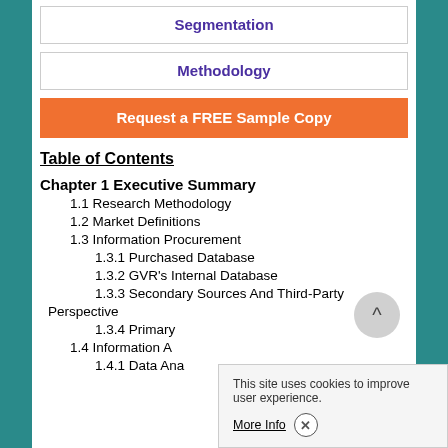Segmentation
Methodology
Request a FREE Sample Copy
Table of Contents
Chapter 1 Executive Summary
1.1 Research Methodology
1.2 Market Definitions
1.3 Information Procurement
1.3.1 Purchased Database
1.3.2 GVR's Internal Database
1.3.3 Secondary Sources And Third-Party Perspective
1.3.4 Primary
1.4 Information A
1.4.1 Data Ana
This site uses cookies to improve user experience.
More Info